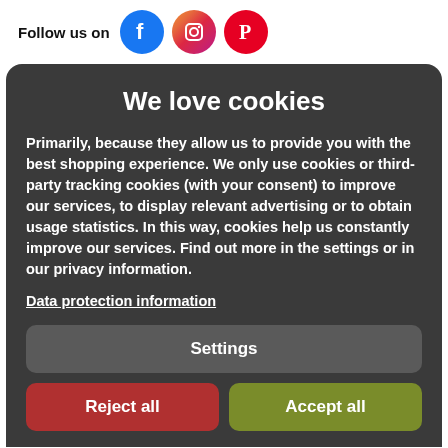Follow us on
[Figure (logo): Facebook, Instagram, and Pinterest social media icons]
We love cookies
Primarily, because they allow us to provide you with the best shopping experience. We only use cookies or third-party tracking cookies (with your consent) to improve our services, to display relevant advertising or to obtain usage statistics. In this way, cookies help us constantly improve our services. Find out more in the settings or in our privacy information.
Data protection information
Settings
Reject all
Accept all